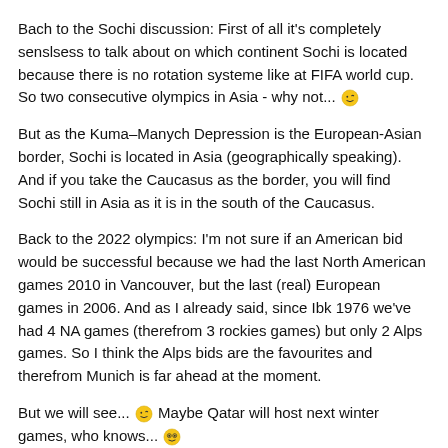Bach to the Sochi discussion: First of all it's completely senslsess to talk about on which continent Sochi is located because there is no rotation systeme like at FIFA world cup. So two consecutive olympics in Asia - why not... [wink emoji]
But as the Kuma–Manych Depression is the European-Asian border, Sochi is located in Asia (geographically speaking). And if you take the Caucasus as the border, you will find Sochi still in Asia as it is in the south of the Caucasus.
Back to the 2022 olympics: I'm not sure if an American bid would be successful because we had the last North American games 2010 in Vancouver, but the last (real) European games in 2006. And as I already said, since Ibk 1976 we've had 4 NA games (therefrom 3 rockies games) but only 2 Alps games. So I think the Alps bids are the favourites and therefrom Munich is far ahead at the moment.
But we will see... [wink emoji] Maybe Qatar will host next winter games, who knows... [crazy emoji]